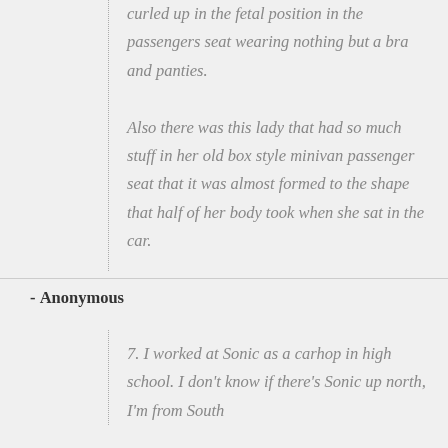curled up in the fetal position in the passengers seat wearing nothing but a bra and panties.

Also there was this lady that had so much stuff in her old box style minivan passenger seat that it was almost formed to the shape that half of her body took when she sat in the car.
- Anonymous
7. I worked at Sonic as a carhop in high school. I don't know if there's Sonic up north, I'm from South